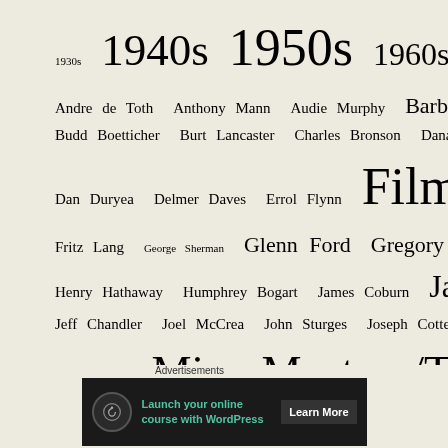[Figure (other): Tag cloud with film-related topics and persons in dark red text on beige background, with varying font sizes indicating popularity/frequency.]
Advertisements
[Figure (infographic): Advertisement banner: Launch your online course with WordPress - Learn More]